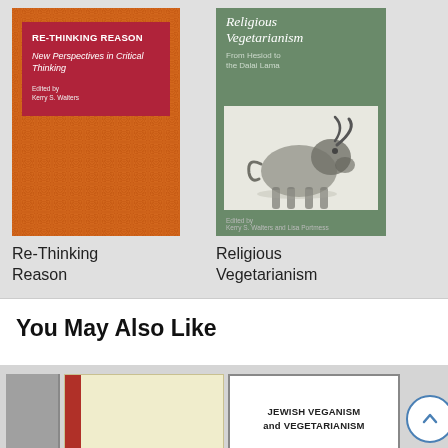[Figure (illustration): Book cover: Re-Thinking Reason — New Perspectives in Critical Thinking, edited by Kerry S. Walters. Orange textured cover with dark red title box.]
Re-Thinking Reason
[Figure (illustration): Book cover: Religious Vegetarianism — From Hesiod to the Dalai Lama. Green cover with white inset illustration of a bull, edited by Kerry S. Walters and Lisa Portmess.]
Religious Vegetarianism
You May Also Like
[Figure (illustration): Partial book cover, grey/dark, partially cropped on left edge.]
[Figure (illustration): Book cover with pale yellow background and red vertical stripe on left.]
[Figure (illustration): Book cover: Jewish Veganism and Vegetarianism, white cover with black border.]
[Figure (illustration): Scroll-to-top button: circular button with upward chevron arrow, blue outline.]